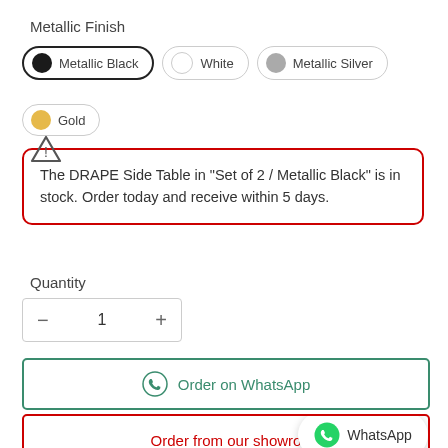Metallic Finish
Metallic Black | White | Metallic Silver | Gold
The DRAPE Side Table in "Set of 2 / Metallic Black" is in stock. Order today and receive within 5 days.
Quantity
- 1 +
Order on WhatsApp
Order from our showro...
WhatsApp